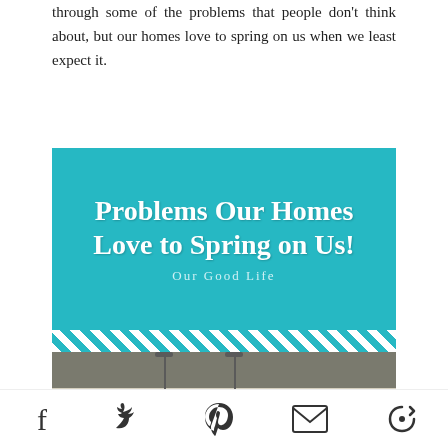through some of the problems that people don't think about, but our homes love to spring on us when we least expect it.
[Figure (infographic): Teal graphic with script text reading 'Problems Our Homes Love to Spring on Us!' with subtitle 'Our Good Life', diagonal stripe border, and a photo of ceiling light poles below.]
[Figure (other): Social sharing icons: Facebook, Twitter, Pinterest, Email, and refresh/share icon]